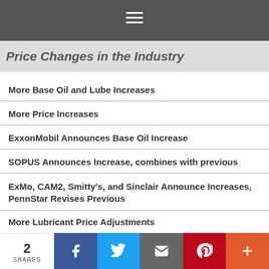Price Changes in the Industry
More Base Oil and Lube Increases
More Price Increases
ExxonMobil Announces Base Oil Increase
SOPUS Announces Increase, combines with previous
ExMo, CAM2, Smitty's, and Sinclair Announce Increases, PennStar Revises Previous
More Lubricant Price Adjustments
We use cookies on our website to give you the most relevant experience by remembering your preferences and repeat visits. By clicking "Accept All", you consent to the use of ALL the cookies. However, you may visit "Cookie Settings" to provide a controlled consent.
2 SHARES | Facebook | Twitter | Email | Pinterest | More